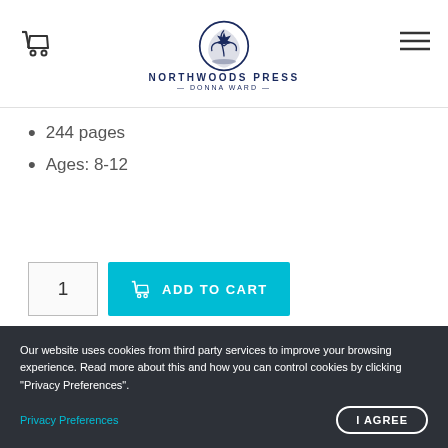NORTHWOODS PRESS DONNA WARD
244 pages
Ages: 8-12
1  ADD TO CART
DESCRIPTION
Our website uses cookies from third party services to improve your browsing experience. Read more about this and how you can control cookies by clicking "Privacy Preferences".
Privacy Preferences
I AGREE